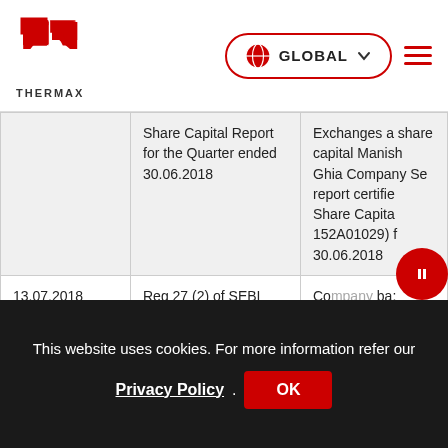[Figure (logo): Thermax company logo - red double-arrow shape with THERMAX text below]
|  | Share Capital Report for the Quarter ended 30.06.2018 | Exchanges and share capital... Manish Ghia Company Se... report certifie... Share Capita... 152A01029) f... 30.06.2018 |
| --- | --- | --- |
|  | Share Capital Report for the Quarter ended 30.06.2018 | Exchanges and share capital Manish Ghia Company Se report certifie Share Capita 152A01029) f 30.06.2018 |
| 13.07.2018 | Reg 27 (2) of SEBI (LODR) Regulations, 2015 - | Co... Exchanges a on Corp... |
This website uses cookies. For more information refer our Privacy Policy. OK